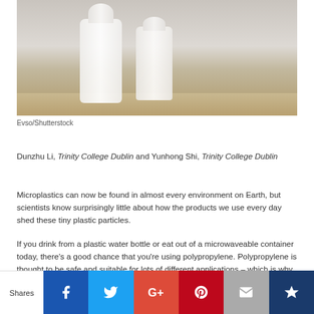[Figure (photo): Photo of two white milk bottles/containers on a wooden surface, with a blurred background of a person in a grey sweater. Photo credit: Evso/Shutterstock.]
Evso/Shutterstock
Dunzhu Li, Trinity College Dublin and Yunhong Shi, Trinity College Dublin
Microplastics can now be found in almost every environment on Earth, but scientists know surprisingly little about how the products we use every day shed these tiny plastic particles.
If you drink from a plastic water bottle or eat out of a microwaveable container today, there's a good chance that you're using polypropylene. Polypropylene is thought to be safe and suitable for lots of different applications – which is why it's the most widely used plastic in food preparation.